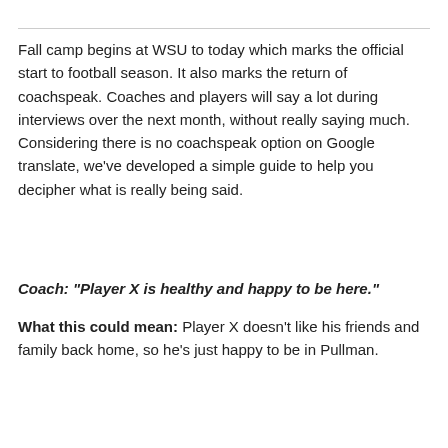Fall camp begins at WSU to today which marks the official start to football season. It also marks the return of coachspeak. Coaches and players will say a lot during interviews over the next month, without really saying much. Considering there is no coachspeak option on Google translate, we've developed a simple guide to help you decipher what is really being said.
Coach: "Player X is healthy and happy to be here."
What this could mean: Player X doesn't like his friends and family back home, so he's just happy to be in Pullman.